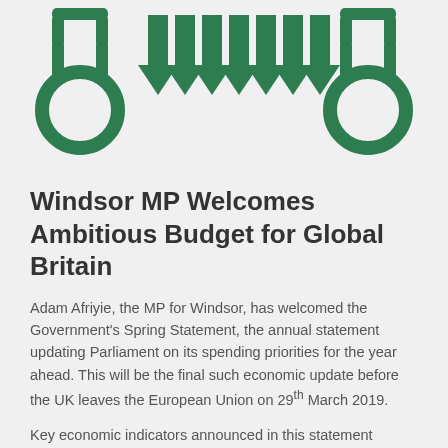[Figure (logo): Green decorative banner with handcuff/shackle icons on the left and right, and multiple downward-pointing green arrow/chevron shapes in the center, forming a header graphic.]
Windsor MP Welcomes Ambitious Budget for Global Britain
Adam Afriyie, the MP for Windsor, has welcomed the Government's Spring Statement, the annual statement updating Parliament on its spending priorities for the year ahead. This will be the final such economic update before the UK leaves the European Union on 29th March 2019.
Key economic indicators announced in this statement include:
The UK's GDP is predicted to grow in each of the next 5 years and is experiencing the longest unbroken quarterly period of growth in the G7.